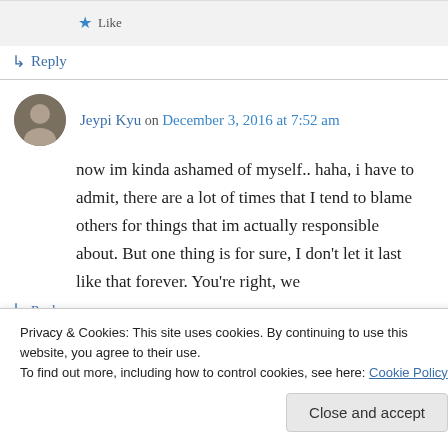Like
↳ Reply
Jeypi Kyu on December 3, 2016 at 7:52 am
now im kinda ashamed of myself.. haha, i have to admit, there are a lot of times that I tend to blame others for things that im actually responsible about. But one thing is for sure, I don't let it last like that forever. You're right, we
↳ Reply
Privacy & Cookies: This site uses cookies. By continuing to use this website, you agree to their use.
To find out more, including how to control cookies, see here: Cookie Policy